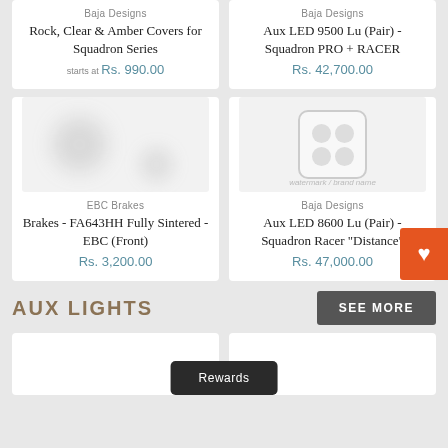Baja Designs
Rock, Clear & Amber Covers for Squadron Series
starts at Rs. 990.00
Baja Designs
Aux LED 9500 Lu (Pair) - Squadron PRO + RACER
Rs. 42,700.00
[Figure (photo): Blurred product image of EBC Brakes pads]
EBC Brakes
Brakes - FA643HH Fully Sintered - EBC (Front)
Rs. 3,200.00
[Figure (photo): Product image of Baja Designs Aux LED light with square housing showing 4 LED cells and watermark]
Baja Designs
Aux LED 8600 Lu (Pair) - Squadron Racer "Distance"
Rs. 47,000.00
AUX LIGHTS
SEE MORE
Rewards